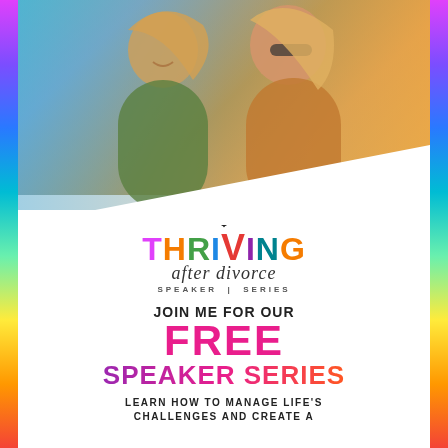[Figure (photo): Two smiling women close together, photo with colorful warm/cool gradient overlay, blue tones on left and warm orange/gold tones on right]
[Figure (logo): Thriving After Divorce Speaker Series logo with lotus flower icon above colorful THRIVING text in rainbow letters, script 'after divorce' text below, and SPEAKER SERIES label]
JOIN ME FOR OUR
FREE
SPEAKER SERIES
LEARN HOW TO MANAGE LIFE'S CHALLENGES AND CREATE A